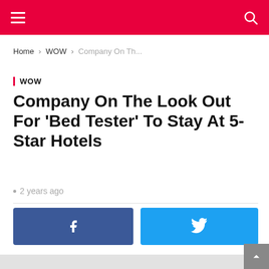Navigation header with hamburger menu and search icon
Home › WOW › Company On Th...
WOW
Company On The Look Out For 'Bed Tester' To Stay At 5-Star Hotels
· 2 years ago
[Figure (other): Facebook share button]
[Figure (other): Twitter share button]
[Figure (photo): Article image placeholder (light grey)]